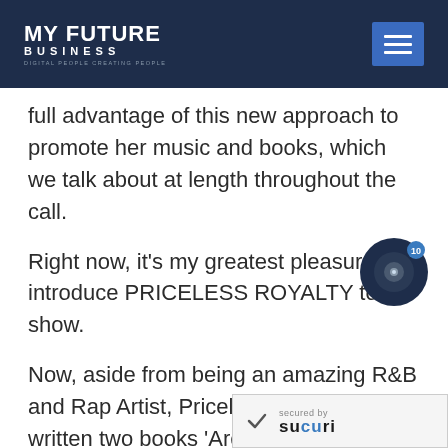MY FUTURE BUSINESS
full advantage of this new approach to promote her music and books, which we talk about at length throughout the call.
Right now, it's my greatest pleasure to introduce PRICELESS ROYALTY to the show.
[Figure (other): Circular media player badge with a dark navy background and a small camera/record icon in the center, with a blue notification badge showing '10']
Now, aside from being an amazing R&B and Rap Artist, Priceless has also written two books 'Are You… Worst Enemy?' and "Are Your
[Figure (logo): Sucuri security badge — 'secured by SUCURI' with a checkmark icon]